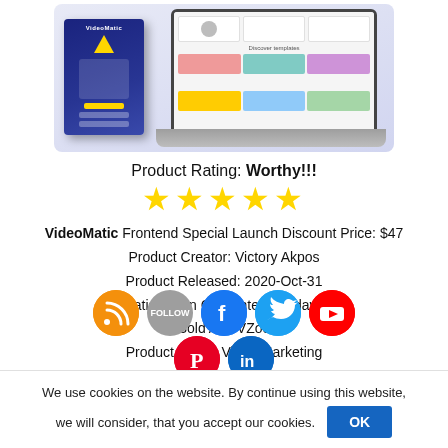[Figure (screenshot): VideoMatic software box and laptop screenshot showing UI with template gallery]
Product Rating: Worthy!!!
[Figure (other): Five gold star rating icons]
VideoMatic Frontend Special Launch Discount Price: $47
Product Creator: Victory Akpos
Product Released: 2020-Oct-31
Satisfaction Guarantee: 30 days
Sold At: JVZoo
Product Niche: Video Marketing
[Figure (other): Social media share buttons: RSS, Follow, Facebook, Twitter, YouTube, Pinterest, LinkedIn]
We use cookies on the website. By continue using this website, we will consider, that you accept our cookies.
OK